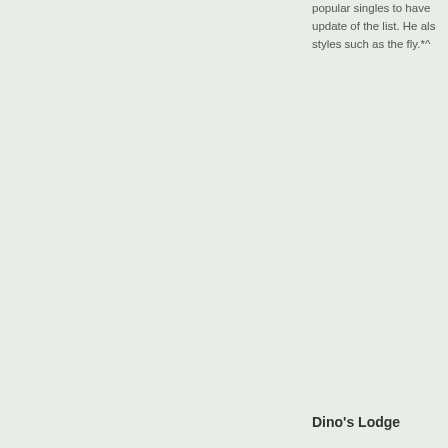popular singles to have ... update of the list. He als... styles such as the fly.*^...
Dino's Lodge
[Figure (photo): Black and white photograph of electrical utility poles with numerous power lines crossing diagonally against a grey sky.]